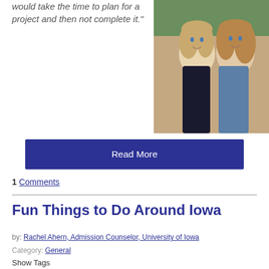would take the time to plan for a project and then not complete it."
[Figure (photo): Two young women smiling together outdoors, one in a black dress and one in a denim shirt, posed close together]
Read More
1 Comments
Fun Things to Do Around Iowa
by: Rachel Ahern, Admission Counselor, University of Iowa
Category: General
Show Tags